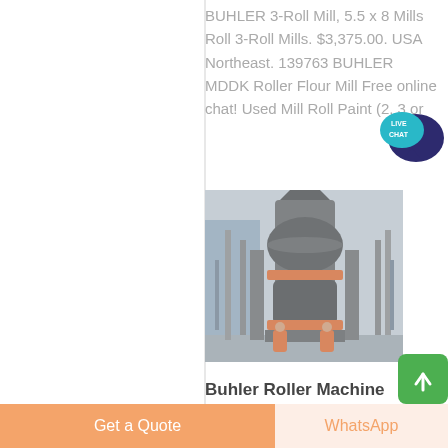BUHLER 3-Roll Mill, 5.5 x 8 Mills Roll 3-Roll Mills. $3,375.00. USA Northeast. 139763 BUHLER MDDK Roller Flour Mill Free online chat! Used Mill Roll Paint (2, 3 or
[Figure (photo): Industrial Buhler roller machine/mill equipment in a factory setting, with workers in orange gear visible at the base. Large cylindrical machinery with metal framework.]
Buhler Roller Machine